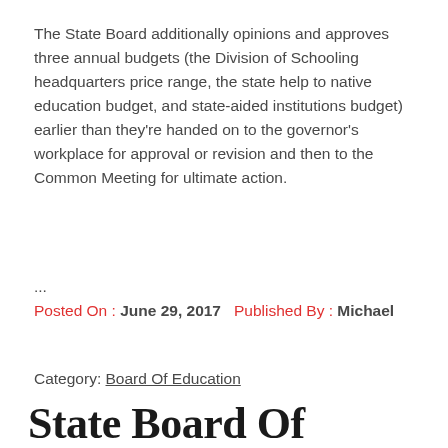The State Board additionally opinions and approves three annual budgets (the Division of Schooling headquarters price range, the state help to native education budget, and state-aided institutions budget) earlier than they're handed on to the governor's workplace for approval or revision and then to the Common Meeting for ultimate action.
...
Posted On : June 29, 2017   Published By : Michael
Category: Board Of Education
State Board Of